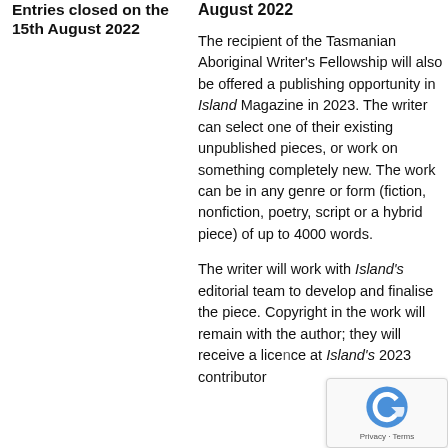Entries closed on the 15th August 2022
August 2022
The recipient of the Tasmanian Aboriginal Writer's Fellowship will also be offered a publishing opportunity in Island Magazine in 2023. The writer can select one of their existing unpublished pieces, or work on something completely new. The work can be in any genre or form (fiction, nonfiction, poetry, script or a hybrid piece) of up to 4000 words.
The writer will work with Island's editorial team to develop and finalise the piece. Copyright in the work will remain with the author; they will receive a licence at Island's 2023 contributor